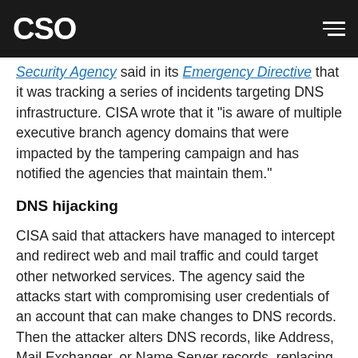CSO
Security Agency said in its Emergency Directive that it was tracking a series of incidents targeting DNS infrastructure. CISA wrote that it “is aware of multiple executive branch agency domains that were impacted by the tampering campaign and has notified the agencies that maintain them.”
DNS hijacking
CISA said that attackers have managed to intercept and redirect web and mail traffic and could target other networked services. The agency said the attacks start with compromising user credentials of an account that can make changes to DNS records.  Then the attacker alters DNS records, like Address, Mail Exchanger, or Name Server records, replacing the legitimate address of the services with an address the attacker controls.